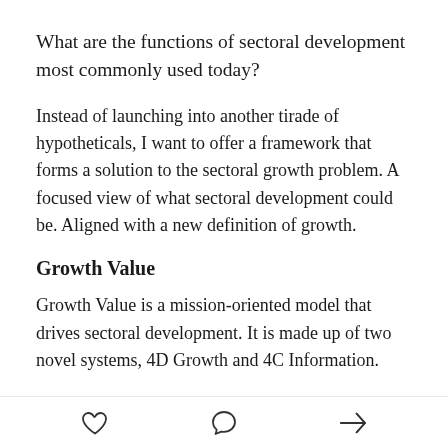What are the functions of sectoral development most commonly used today?
Instead of launching into another tirade of hypotheticals, I want to offer a framework that forms a solution to the sectoral growth problem. A focused view of what sectoral development could be. Aligned with a new definition of growth.
Growth Value
Growth Value is a mission-oriented model that drives sectoral development. It is made up of two novel systems, 4D Growth and 4C Information.
The four dimensions of Growth (4D Growth) define its
[heart icon] [comment icon] [share icon]